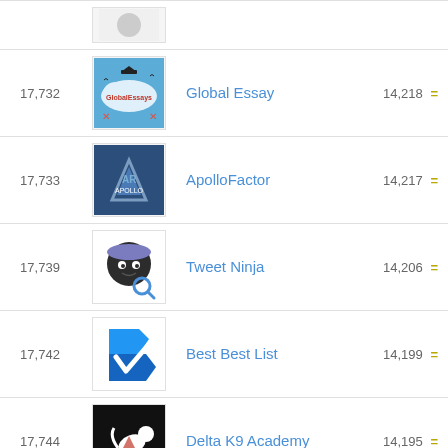| Rank | Logo | Name | Score |
| --- | --- | --- | --- |
|  |  |  |  |
| 17,732 | [Global Essay logo] | Global Essay | 14,218 = |
| 17,733 | [ApolloFactor logo] | ApolloFactor | 14,217 = |
| 17,739 | [Tweet Ninja logo] | Tweet Ninja | 14,206 = |
| 17,742 | [Best Best List logo] | Best Best List | 14,199 = |
| 17,744 | [Delta K9 Academy logo] | Delta K9 Academy | 14,195 = |
| 17,745 | [IV Oasis logo] | IV Oasis | 14,194 = |